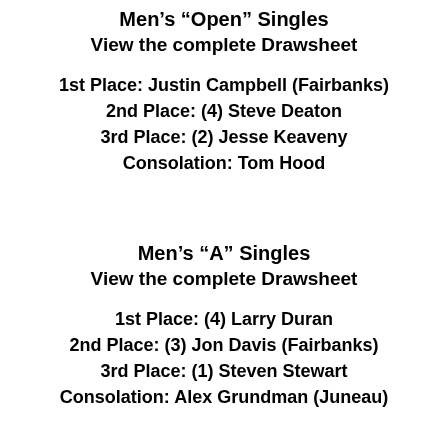Men's “Open” Singles
View the complete Drawsheet
1st Place: Justin Campbell (Fairbanks)
2nd Place: (4) Steve Deaton
3rd Place: (2) Jesse Keaveny
Consolation: Tom Hood
Men's “A” Singles
View the complete Drawsheet
1st Place: (4) Larry Duran
2nd Place: (3) Jon Davis (Fairbanks)
3rd Place: (1) Steven Stewart
Consolation: Alex Grundman (Juneau)